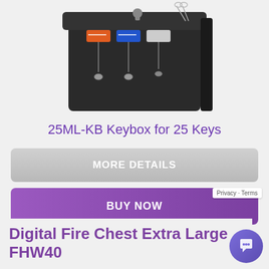[Figure (photo): A black metal key cabinet/keybox open showing multiple labeled keys hanging inside, with keys in the lock on top. Photographed at an angle against a light gray background.]
25ML-KB Keybox for 25 Keys
MORE DETAILS
BUY NOW
Privacy · Terms
Digital Fire Chest Extra Large FHW40